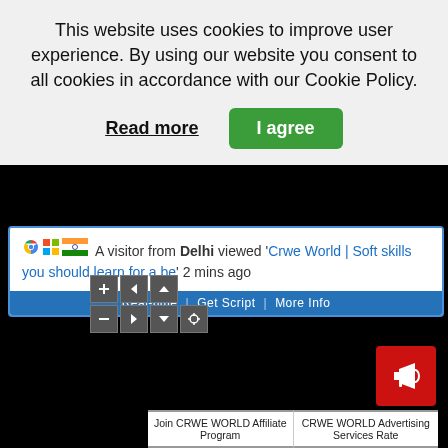This website uses cookies to improve user experience. By using our website you consent to all cookies in accordance with our Cookie Policy.
Read more
I agree
A visitor from Delhi viewed 'Crwe World | Soft skills you should learn for a be' 2 mins ago
Real-time | Get Script | More Info
[Figure (other): Map view controls: plus, left arrow, up arrow (top row); minus, right arrow, down arrow, crosshair (bottom row)]
[Figure (other): Red megaphone/announcement icon button]
Join CRWE WORLD Affiliate Program
CRWE WORLD Advertising Services Rate